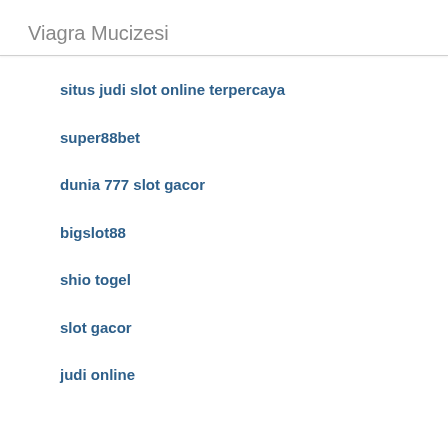Viagra Mucizesi
situs judi slot online terpercaya
super88bet
dunia 777 slot gacor
bigslot88
shio togel
slot gacor
judi online